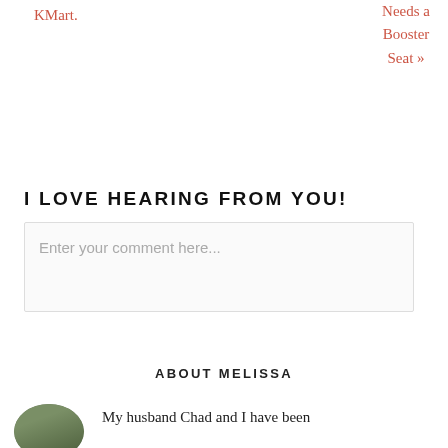KMart.
Needs a Booster Seat »
I LOVE HEARING FROM YOU!
Enter your comment here...
ABOUT MELISSA
My husband Chad and I have been